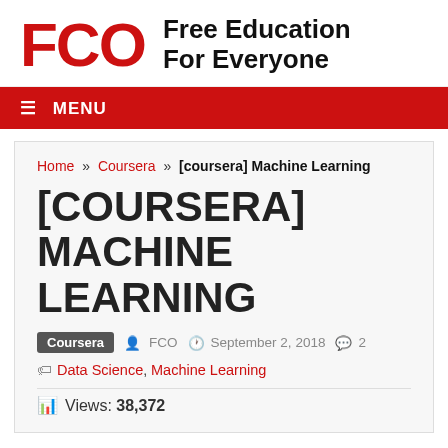[Figure (logo): FCO logo in red with tagline 'Free Education For Everyone' in bold black]
≡ MENU
Home » Coursera » [coursera] Machine Learning
[COURSERA] MACHINE LEARNING
Coursera  FCO  September 2, 2018  2
Data Science, Machine Learning
Views: 38,372